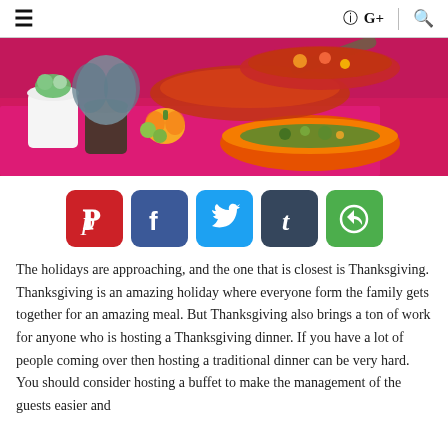☰ | ⊙ G+ | 🔍
[Figure (photo): A Thanksgiving table spread with dishes including turkey, vegetables in orange bowls, decorative pumpkins and succulent plants on a pink tablecloth.]
[Figure (infographic): Social sharing buttons row: Pinterest (red, P), Facebook (blue, f), Twitter (light blue, bird), Tumblr (dark blue, t), and a green share button with circular arrow icon.]
The holidays are approaching, and the one that is closest is Thanksgiving. Thanksgiving is an amazing holiday where everyone form the family gets together for an amazing meal. But Thanksgiving also brings a ton of work for anyone who is hosting a Thanksgiving dinner. If you have a lot of people coming over then hosting a traditional dinner can be very hard. You should consider hosting a buffet to make the management of the guests easier and